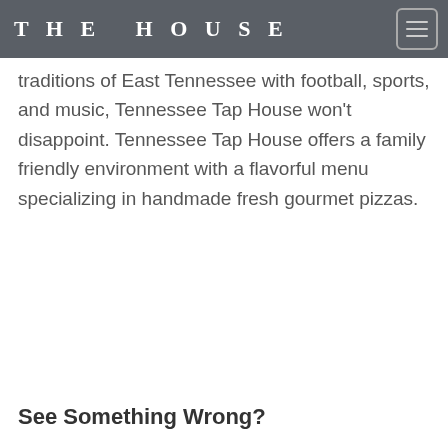THE HOUSE
traditions of East Tennessee with football, sports, and music, Tennessee Tap House won't disappoint. Tennessee Tap House offers a family friendly environment with a flavorful menu specializing in handmade fresh gourmet pizzas.
See Something Wrong?